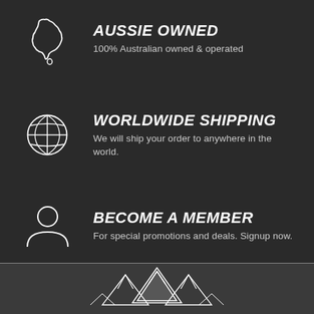[Figure (infographic): Outline of Australia map in white on dark background]
AUSSIE OWNED
100% Australian owned & operated
[Figure (infographic): White globe/world icon with grid lines on dark background]
WORLDWIDE SHIPPING
We will ship your order to anywhere in the world.
[Figure (infographic): White person/user silhouette icon on dark background]
BECOME A MEMBER
For special promotions and deals. Signup now.
[Figure (illustration): White mountain peaks logo/illustration on dark textured background at the bottom of the page]